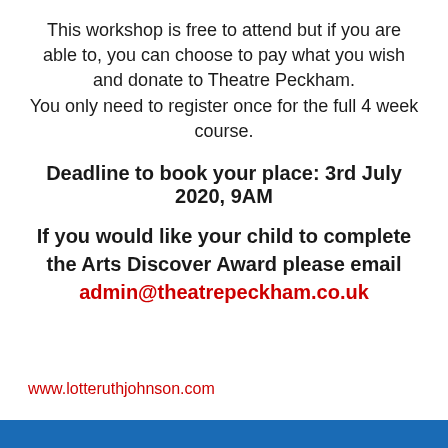This workshop is free to attend but if you are able to, you can choose to pay what you wish and donate to Theatre Peckham. You only need to register once for the full 4 week course.
Deadline to book your place: 3rd July 2020, 9AM
If you would like your child to complete the Arts Discover Award please email admin@theatrepeckham.co.uk
www.lotteruthjohnson.com
[Figure (other): Blue horizontal bar at the bottom of the page]